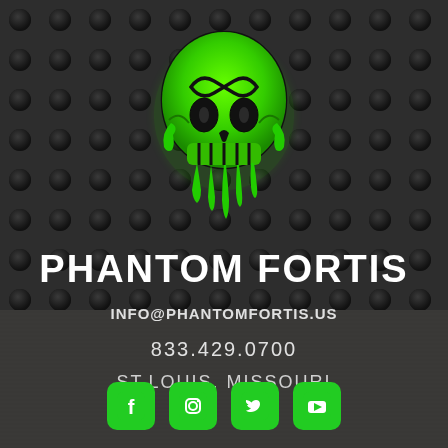[Figure (logo): Green glowing skull logo with dripping effect on dark perforated metal background]
PHANTOM FORTIS
INFO@PHANTOMFORTIS.US
833.429.0700
ST.LOUIS, MISSOURI
[Figure (other): Social media icons row: Facebook, Instagram, Twitter, YouTube — green rounded square buttons]